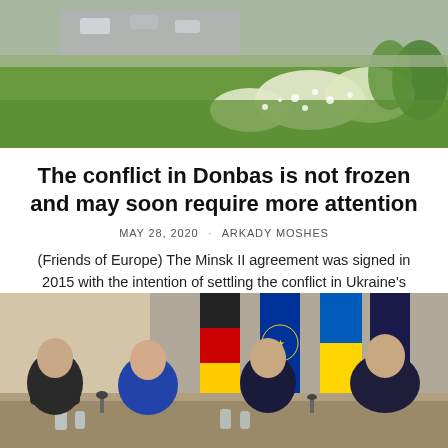[Figure (photo): Aerial or elevated view of a road with cars and green landscaping with bushes and trees]
The conflict in Donbas is not frozen and may soon require more attention
MAY 28, 2020 · ARKADY MOSHES
(Friends of Europe) The Minsk II agreement was signed in 2015 with the intention of settling the conflict in Ukraine's Donbas. Yet, it was doomed from the outset as it…
[Figure (photo): Four leaders seated at a table with flags behind them, including Angela Merkel, Emmanuel Macron, Vladimir Putin, and Volodymyr Zelensky at what appears to be a diplomatic summit]